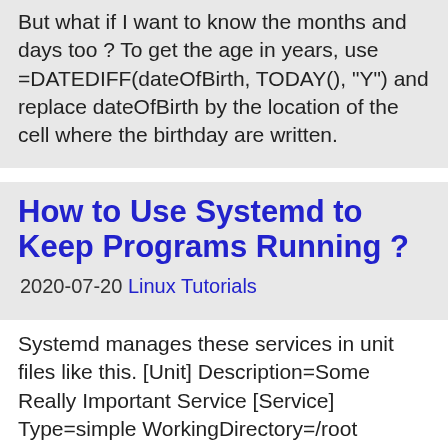But what if I want to know the months and days too ? To get the age in years, use =DATEDIFF(dateOfBirth, TODAY(), "Y") and replace dateOfBirth by the location of the cell where the birthday are written.
How to Use Systemd to Keep Programs Running ?
2020-07-20 Linux Tutorials
Systemd manages these services in unit files like this. [Unit] Description=Some Really Important Service [Service] Type=simple WorkingDirectory=/root ExecStart=/root/my_program.sh [Install]